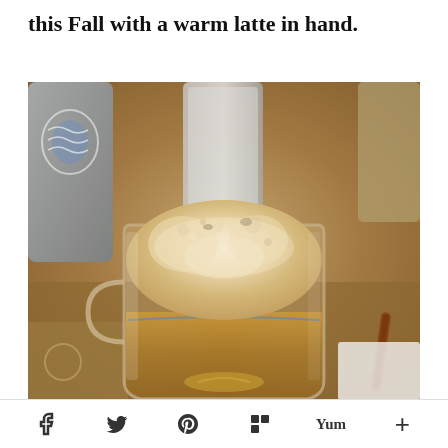this Fall with a warm latte in hand.
[Figure (photo): Close-up photo of a warm latte in a clear glass mug with a frothy foam top, set against a background with other kitchen items including a bottle, silver container, and cinnamon sticks.]
f  (twitter icon)  (pinterest icon)  (flipboard icon)  Yum  +